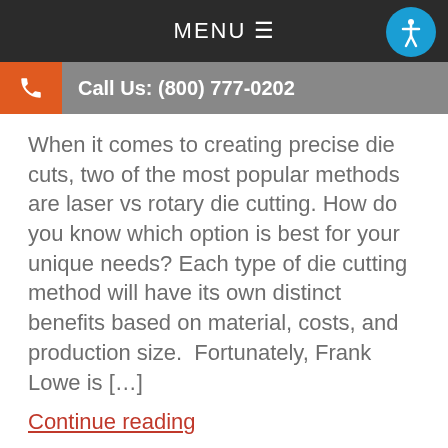MENU ≡
Call Us: (800) 777-0202
When it comes to creating precise die cuts, two of the most popular methods are laser vs rotary die cutting. How do you know which option is best for your unique needs? Each type of die cutting method will have its own distinct benefits based on material, costs, and production size.  Fortunately, Frank Lowe is […]
Continue reading